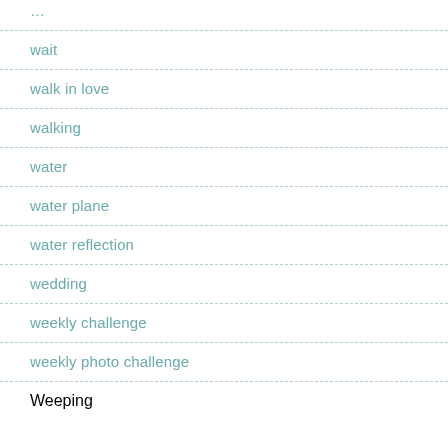…
wait
walk in love
walking
water
water plane
water reflection
wedding
weekly challenge
weekly photo challenge
Weeping